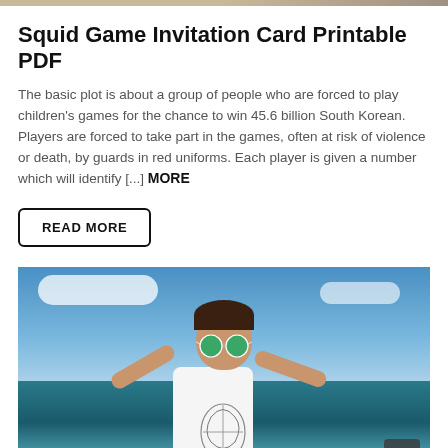Squid Game Invitation Card Printable PDF
The basic plot is about a group of people who are forced to play children's games for the chance to win 45.6 billion South Korean. Players are forced to take part in the games, often at risk of violence or death, by guards in red uniforms. Each player is given a number which will identify [...] MORE
READ MORE
[Figure (photo): Woman with short dark hair and green mirrored sunglasses, wearing a white graphic t-shirt, standing on a beach with arms outstretched, blue sky and ocean in background. A 'SELF DEVELOPEMENT' label appears at the bottom left.]